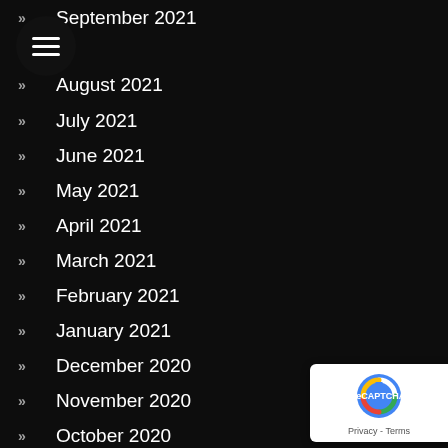[Figure (other): Hamburger menu button (three horizontal white lines on dark circle)]
September 2021
August 2021
July 2021
June 2021
May 2021
April 2021
March 2021
February 2021
January 2021
December 2020
November 2020
October 2020
September 2020
August 2020
July 2020
June 2020
May 2020
April 2020
[Figure (other): reCAPTCHA badge with Privacy and Terms text]